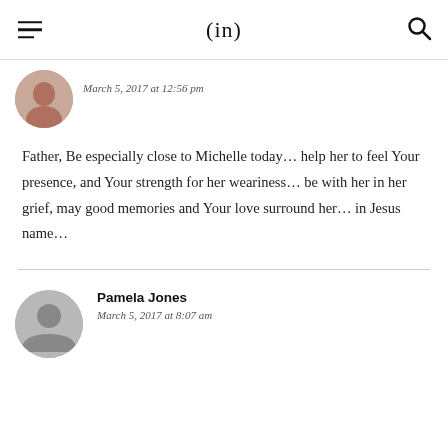(in)
March 5, 2017 at 12:56 pm
Father, Be especially close to Michelle today… help her to feel Your presence, and Your strength for her weariness… be with her in her grief, may good memories and Your love surround her… in Jesus name…
Pamela Jones
March 5, 2017 at 8:07 am